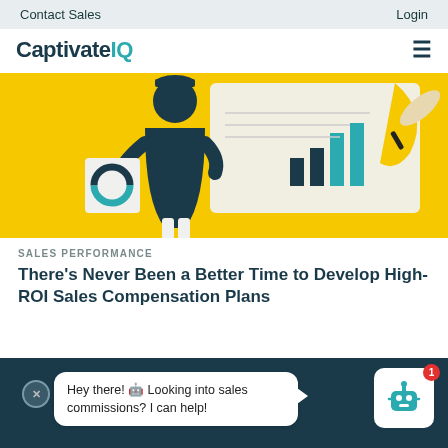Contact Sales | Login
CaptivateIQ
[Figure (illustration): Illustration of a person holding a donut chart card and looking at a bar chart, with a yellow background and a hand holding a pen on the right side.]
SALES PERFORMANCE
There's Never Been a Better Time to Develop High-ROI Sales Compensation Plans
[Figure (screenshot): Screenshot of a chatbot widget on dark teal background. A speech bubble says 'Hey there! Looking into sales commissions? I can help!' with a robot avatar icon and red notification badge showing 1.]